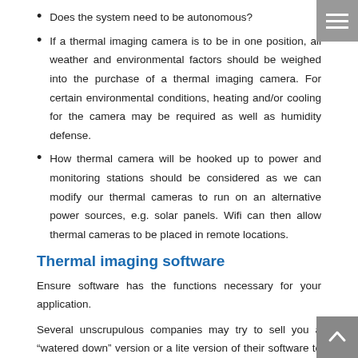Does the system need to be autonomous?
If a thermal imaging camera is to be in one position, all weather and environmental factors should be weighed into the purchase of a thermal imaging camera. For certain environmental conditions, heating and/or cooling for the camera may be required as well as humidity defense.
How thermal camera will be hooked up to power and monitoring stations should be considered as we can modify our thermal cameras to run on an alternative power sources, e.g. solar panels. Wifi can then allow thermal cameras to be placed in remote locations.
Thermal imaging software
Ensure software has the functions necessary for your application.
Several unscrupulous companies may try to sell you a “watered down” version or a lite version of their software to allow viewing only